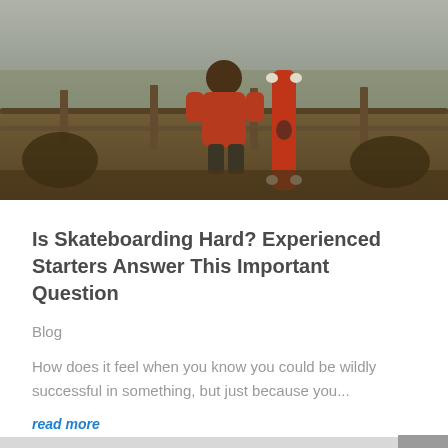[Figure (photo): Child in red jacket sitting on bench holding a red skateboard, outdoor winter scene]
Is Skateboarding Hard? Experienced Starters Answer This Important Question
Blog
How does it feel when you know you could be wildly successful in something, but just because you...
read more
[Figure (photo): Three-panel image strip: left panel shows skater in black and white, center panel shows wooden longboard with text 'Best', right panel shows orange skateboard wheels being held]